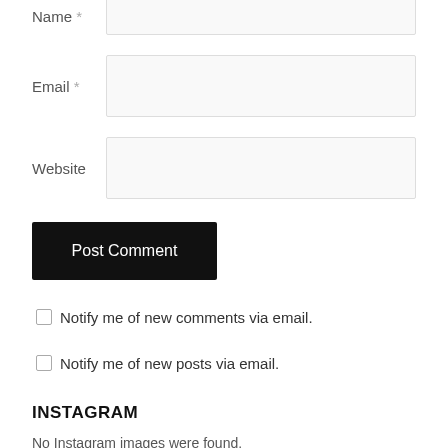Name *
Email *
Website
Post Comment
Notify me of new comments via email.
Notify me of new posts via email.
INSTAGRAM
No Instagram images were found.